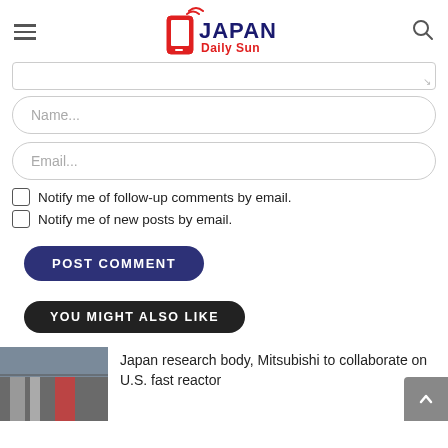Japan Daily Sun
[Figure (screenshot): Partially visible textarea input box with resize handle]
[Figure (screenshot): Name input field with placeholder text 'Name...']
[Figure (screenshot): Email input field with placeholder text 'Email...']
Notify me of follow-up comments by email.
Notify me of new posts by email.
POST COMMENT
YOU MIGHT ALSO LIKE
Japan research body, Mitsubishi to collaborate on U.S. fast reactor